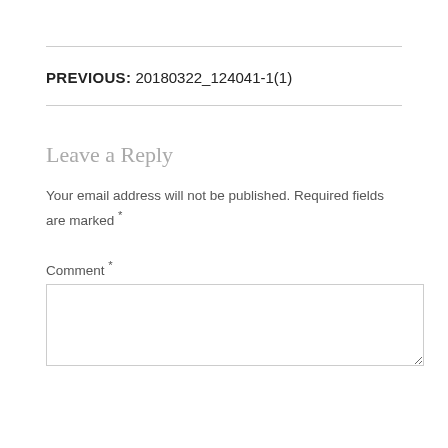PREVIOUS: 20180322_124041-1(1)
Leave a Reply
Your email address will not be published. Required fields are marked *
Comment *